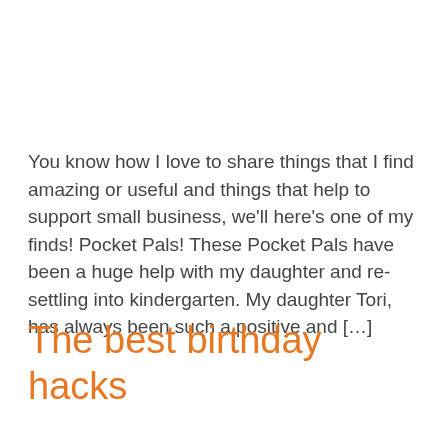You know how I love to share things that I find amazing or useful and things that help to support small business, we'll here's one of my finds! Pocket Pals! These Pocket Pals have been a huge help with my daughter and re-settling into kindergarten. My daughter Tori, has always been such a positive and […]
The best birthday hacks